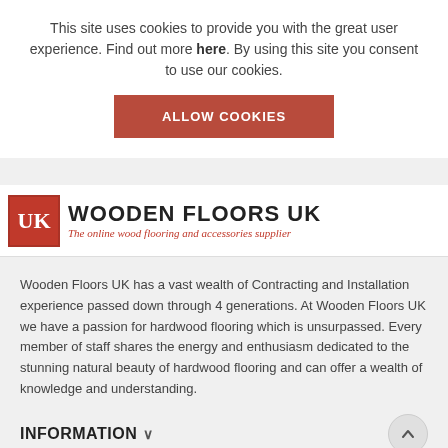This site uses cookies to provide you with the great user experience. Find out more here. By using this site you consent to use our cookies.
ALLOW COOKIES
[Figure (logo): Wooden Floors UK logo: red square with 'UK' text, large bold 'WOODEN FLOORS UK' heading, italic red subtitle 'The online wood flooring and accessories supplier']
Wooden Floors UK has a vast wealth of Contracting and Installation experience passed down through 4 generations. At Wooden Floors UK we have a passion for hardwood flooring which is unsurpassed. Every member of staff shares the energy and enthusiasm dedicated to the stunning natural beauty of hardwood flooring and can offer a wealth of knowledge and understanding.
INFORMATION